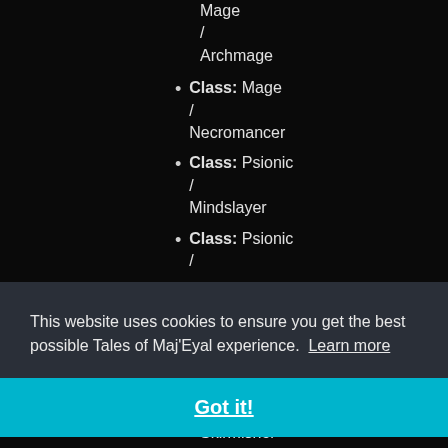Class: Mage / Archmage
Class: Mage / Necromancer
Class: Psionic / Mindslayer
Class: Psionic /
This website uses cookies to ensure you get the best possible Tales of Maj'Eyal experience. Learn more
Got it!
Skirmisher